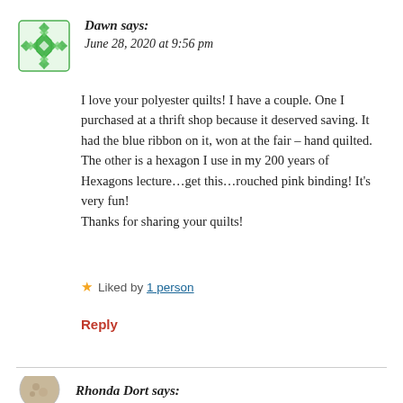[Figure (illustration): Green geometric quilt-pattern avatar icon for user Dawn]
Dawn says:
June 28, 2020 at 9:56 pm
I love your polyester quilts! I have a couple. One I purchased at a thrift shop because it deserved saving. It had the blue ribbon on it, won at the fair – hand quilted.
The other is a hexagon I use in my 200 years of Hexagons lecture…get this…rouched pink binding! It's very fun!
Thanks for sharing your quilts!
★ Liked by 1 person
Reply
[Figure (photo): Circular avatar photo for user Rhonda Dort]
Rhonda Dort says: